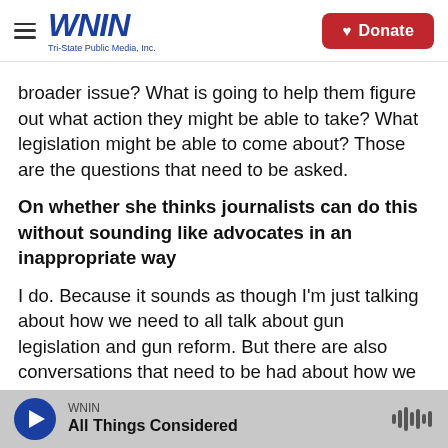WNIN Tri-State Public Media, Inc. | Donate
broader issue? What is going to help them figure out what action they might be able to take? What legislation might be able to come about? Those are the questions that need to be asked.
On whether she thinks journalists can do this without sounding like advocates in an inappropriate way
I do. Because it sounds as though I'm just talking about how we need to all talk about gun legislation and gun reform. But there are also conversations that need to be had about how we deal with mental
WNIN | All Things Considered